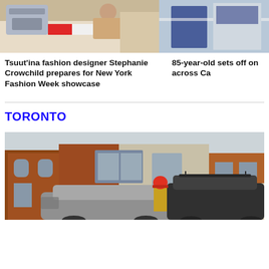[Figure (photo): Person sewing colorful fabric at a sewing machine on a table]
[Figure (photo): Partial photo showing blue and white colors, possibly a vehicle or flag]
Tsuut'ina fashion designer Stephanie Crowchild prepares for New York Fashion Week showcase
85-year-old sets off on across Ca
TORONTO
[Figure (photo): A firefighter stands near two cars involved in an accident in front of a brick house in Toronto]